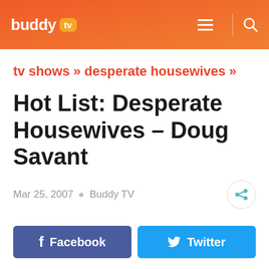buddy tv
tv shows » desperate housewives »
Hot List: Desperate Housewives – Doug Savant
Mar 25, 2007  •  Buddy TV
Facebook  Twitter